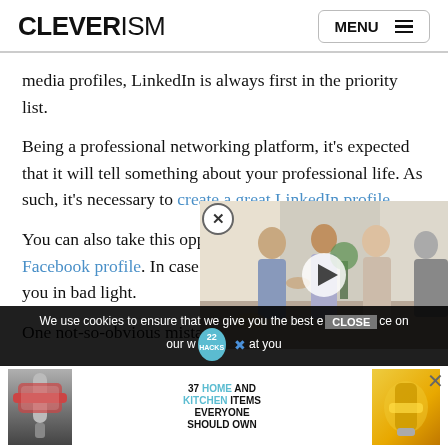CLEVERISM | MENU
media profiles, LinkedIn is always first in the priority list.
Being a professional networking platform, it's expected that it will tell something about your professional life. As such, it's necessary to create a great LinkedIn profile.
You can also take this opportunity to update your Facebook profile. In case it's casting you in bad light.
One not-so-obvious mistake y...
[Figure (photo): Video thumbnail showing people shaking hands in an office setting, with a play button overlay]
We use cookies to ensure that we give you the best experience on our w... that you
[Figure (infographic): Advertisement banner: 37 HOME AND KITCHEN ITEMS EVERYONE SHOULD OWN, with product images]